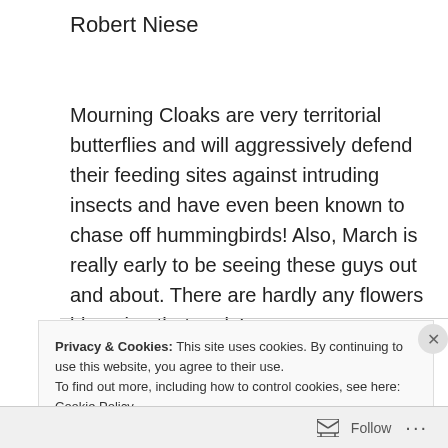Robert Niese
Mourning Cloaks are very territorial butterflies and will aggressively defend their feeding sites against intruding insects and have even been known to chase off hummingbirds! Also, March is really early to be seeing these guys out and about. There are hardly any flowers blooming that early!
Privacy & Cookies: This site uses cookies. By continuing to use this website, you agree to their use.
To find out more, including how to control cookies, see here: Cookie Policy
Close and accept
Follow ...